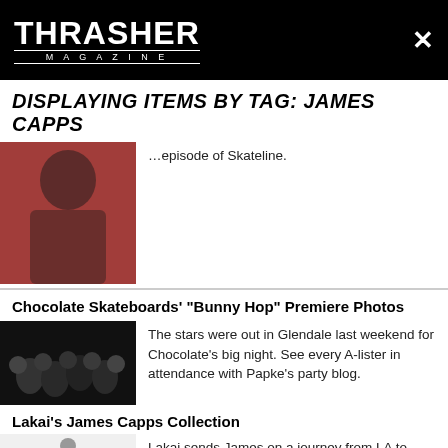THRASHER MAGAZINE
DISPLAYING ITEMS BY TAG: JAMES CAPPS
episode of Skateline.
Chocolate Skateboards' "Bunny Hop" Premiere Photos
The stars were out in Glendale last weekend for Chocolate's big night. See every A-lister in attendance with Papke's party blog.
Lakai's James Capps Collection
Lakai sends James on a journey from LA to Idaho to pick up the pieces of his new collection.